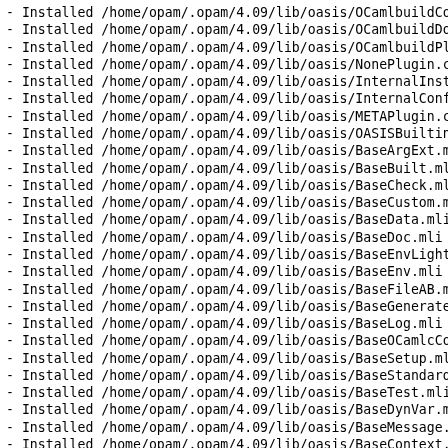- Installed /home/opam/.opam/4.09/lib/oasis/OCamlbuildCo
- Installed /home/opam/.opam/4.09/lib/oasis/OCamlbuildDoc
- Installed /home/opam/.opam/4.09/lib/oasis/OCamlbuildPlu
- Installed /home/opam/.opam/4.09/lib/oasis/NonePlugin.cm
- Installed /home/opam/.opam/4.09/lib/oasis/InternalInsta
- Installed /home/opam/.opam/4.09/lib/oasis/InternalConfi
- Installed /home/opam/.opam/4.09/lib/oasis/METAPlugin.cm
- Installed /home/opam/.opam/4.09/lib/oasis/OASISBuiltinP
- Installed /home/opam/.opam/4.09/lib/oasis/BaseArgExt.ml
- Installed /home/opam/.opam/4.09/lib/oasis/BaseBuilt.mli
- Installed /home/opam/.opam/4.09/lib/oasis/BaseCheck.mli
- Installed /home/opam/.opam/4.09/lib/oasis/BaseCustom.ml
- Installed /home/opam/.opam/4.09/lib/oasis/BaseData.mli
- Installed /home/opam/.opam/4.09/lib/oasis/BaseDoc.mli
- Installed /home/opam/.opam/4.09/lib/oasis/BaseEnvLight
- Installed /home/opam/.opam/4.09/lib/oasis/BaseEnv.mli
- Installed /home/opam/.opam/4.09/lib/oasis/BaseFileAB.ml
- Installed /home/opam/.opam/4.09/lib/oasis/BaseGenerate
- Installed /home/opam/.opam/4.09/lib/oasis/BaseLog.mli
- Installed /home/opam/.opam/4.09/lib/oasis/BaseOCamlcCom
- Installed /home/opam/.opam/4.09/lib/oasis/BaseSetup.mli
- Installed /home/opam/.opam/4.09/lib/oasis/BaseStandardW
- Installed /home/opam/.opam/4.09/lib/oasis/BaseTest.mli
- Installed /home/opam/.opam/4.09/lib/oasis/BaseDynVar.ml
- Installed /home/opam/.opam/4.09/lib/oasis/BaseMessage.m
- Installed /home/opam/.opam/4.09/lib/oasis/BaseContext.m
- Installed /home/opam/.opam/4.09/lib/oasis/BaseCompat.ml
- Installed /home/opam/.opam/4.09/lib/oasis/base.cma
- Installed /home/opam/.opam/4.09/lib/oasis/base.cmxa
- Installed /home/opam/.opam/4.09/lib/oasis/base.a